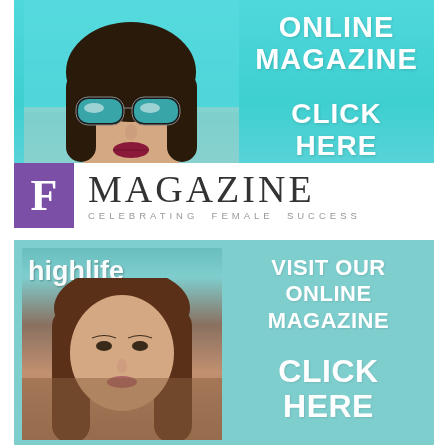[Figure (illustration): Top advertising banner with teal/turquoise background, fashion model woman wearing reflective sunglasses on left side, white bold text 'ONLINE MAGAZINE' and 'CLICK HERE' on right side, F Magazine logo bar at bottom with purple F letter box and 'MAGAZINE / CELEBRATING FEMALE SUCCESS' text]
[Figure (illustration): Bottom advertising banner with teal/mint background, Highlife Downs Living magazine cover showing woman with long brown hair on left, white bold text 'VISIT OUR ONLINE MAGAZINE' and 'CLICK HERE' on right side]